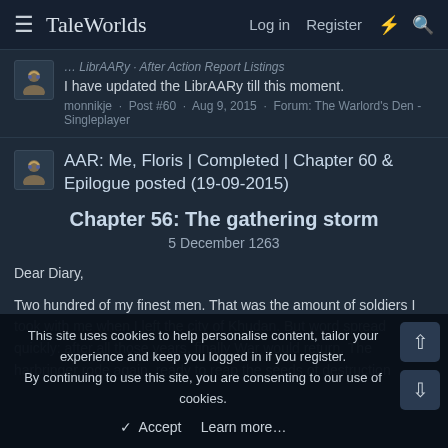TaleWorlds  Log in  Register
I have updated the LibrAARy till this moment.
monnikje · Post #60 · Aug 9, 2015 · Forum: The Warlord's Den - Singleplayer
AAR: Me, Floris | Completed | Chapter 60 & Epilogue posted (19-09-2015)
Chapter 56: The gathering storm
5 December 1263
Dear Diary,
Two hundred of my finest men. That was the amount of soldiers I took with me when I left the city of Khudan. But word spread quickly: after all those years, finally War would return. The harbringer rode again, ready to reap the seeds of destruction
This site uses cookies to help personalise content, tailor your experience and keep you logged in if you register.
By continuing to use this site, you are consenting to our use of cookies.
✓ Accept   Learn more...